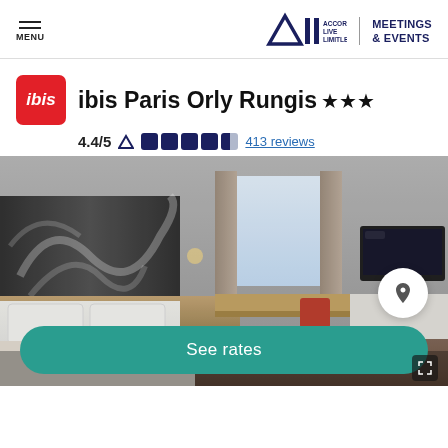MENU | ALL ACCOR LIVE LIMITLESS | MEETINGS & EVENTS
ibis Paris Orly Rungis ★★★
4.4/5  ●●●●◑  413 reviews
[Figure (photo): Hotel room interior with bed, desk, TV, and decorative headboard panel]
See rates